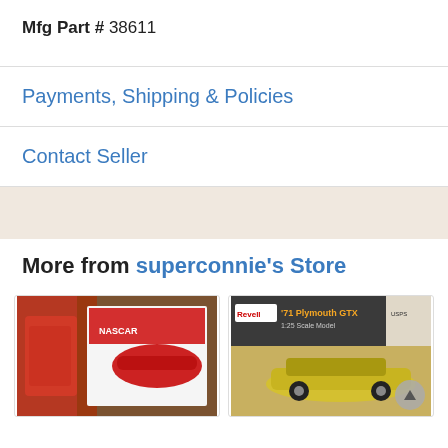Mfg Part # 38611
Payments, Shipping & Policies
Contact Seller
More from superconnie's Store
[Figure (photo): Photo of a Cherry Bo model car kit with red plastic parts in packaging]
[Figure (photo): Photo of a Revell '71 Plymouth GTX model car kit box showing a yellow muscle car]